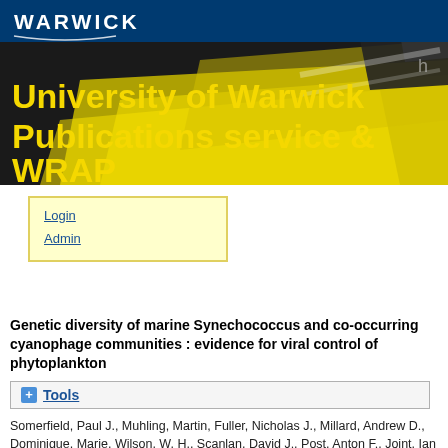[Figure (illustration): University of Warwick Publications service & WRAP banner with dark background, yellow highlighter pen image, yellow text overlay, and Warwick logo on blue top bar]
Login
Admin
Genetic diversity of marine Synechococcus and co-occurring cyanophage communities : evidence for viral control of phytoplankton
Tools
Somerfield, Paul J., Muhling, Martin, Fuller, Nicholas J., Millard, Andrew D., Dominique, Marie, Wilson, W. H., Scanlan, David J., Post, Anton F., Joint, Ian and Mann, Nicholas H. (2005) Genetic diversity of marine